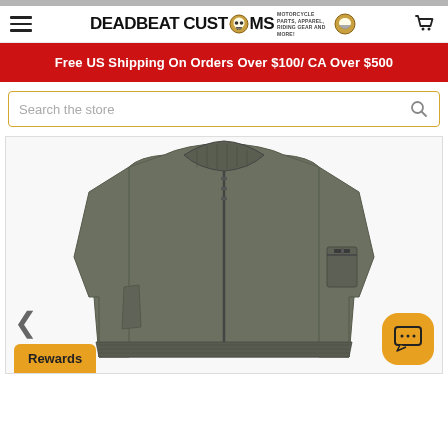[Figure (logo): Deadbeat Customs logo with skull icon and tagline: Motorcycle Parts, Apparel, Riding Gear and More!]
Free US Shipping On Orders Over $100/ CA Over $500
Search the store
[Figure (photo): Olive/sage green bomber flight jacket (MA-1 style) displayed on invisible mannequin, front view, showing ribbed collar, zip front, sleeve pocket with zipper]
Rewards